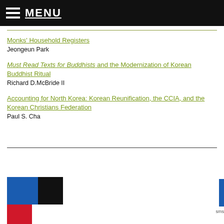MENU
Monks' Household Registers
Jeongeun Park
Must Read Texts for Buddhists and the Modernization of Korean Buddhist Ritual
Richard D.McBride II
Accounting for North Korea: Korean Reunification, the CCIA, and the Korean Christians Federation
Paul S. Cha
[Figure (logo): Colorblock logo with blue, black, and red squares, and a partial blue bar at right edge]